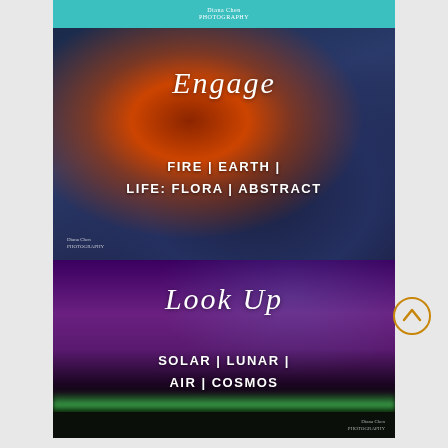Diana Chen / Photography (logo/watermark)
[Figure (photo): Close-up photo of lava flow showing bright orange-red molten lava against dark blue-grey hardened volcanic rock texture]
Engage
FIRE | EARTH | LIFE: FLORA | ABSTRACT
[Figure (photo): Night sky aurora borealis photo showing purple and violet sky with green aurora band near the horizon over dark landscape]
Look Up
SOLAR | LUNAR | AIR | COSMOS